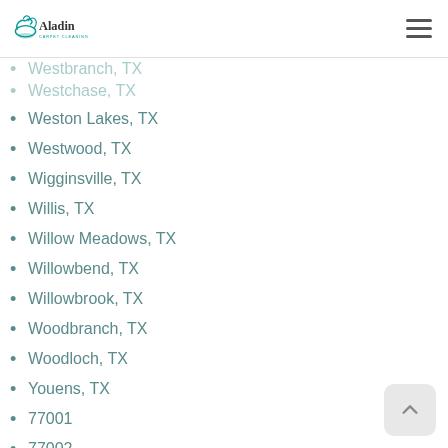Aladin Carpet Cleaning
Westbranch, TX
Westchase, TX
Weston Lakes, TX
Westwood, TX
Wigginsville, TX
Willis, TX
Willow Meadows, TX
Willowbend, TX
Willowbrook, TX
Woodbranch, TX
Woodloch, TX
Youens, TX
77001
77002
77003
77004
77005
77006
77007
77008